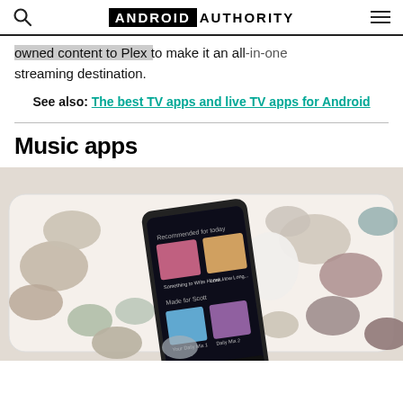Android Authority
owned content to Plex to make it an all-in-one streaming destination.
See also: The best TV apps and live TV apps for Android
Music apps
[Figure (photo): A smartphone displaying the Spotify app with 'Recommended for today' and 'Made for Scott' playlists, resting in a tray filled with various stones and pebbles.]